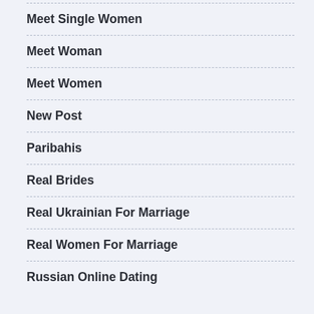Meet Single Women
Meet Woman
Meet Women
New Post
Paribahis
Real Brides
Real Ukrainian For Marriage
Real Women For Marriage
Russian Online Dating